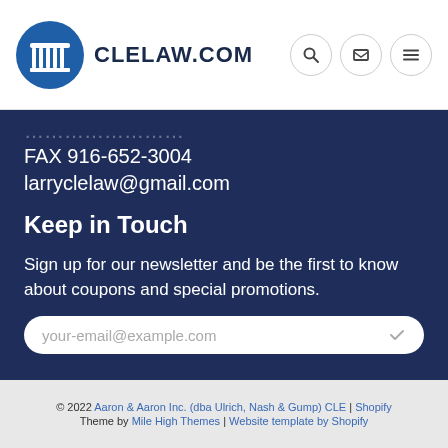CLELAW.COM
FAX 916-652-3004
larryclelaw@gmail.com
Keep in Touch
Sign up for our newsletter and be the first to know about coupons and special promotions.
your-email@example.com
© 2022 Aaron & Aaron Inc. (dba Ulrich, Nash & Gump) CLE | Shopify Theme by Mile High Themes | Website template by Shopify